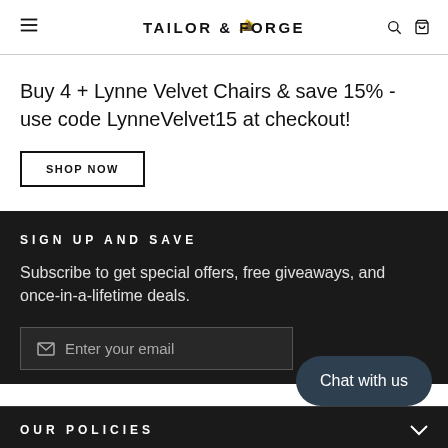TAILOR & FORGE
Buy 4 + Lynne Velvet Chairs & save 15% - use code LynneVelvet15 at checkout!
SHOP NOW
SIGN UP AND SAVE
Subscribe to get special offers, free giveaways, and once-in-a-lifetime deals.
Enter your email
Chat with us
OUR POLICIES